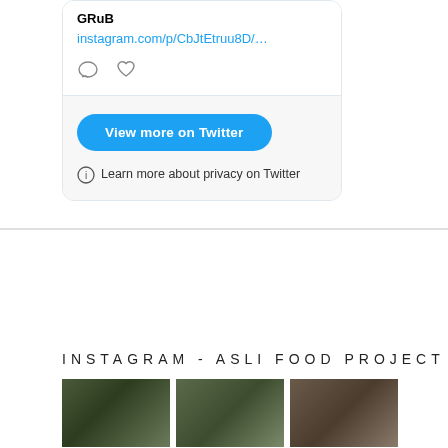GRuB
instagram.com/p/CbJtEtruu8D/…
[Figure (screenshot): Twitter embed card showing a GRuB Instagram link with comment and heart icons, a blue 'View more on Twitter' button, and a privacy notice]
INSTAGRAM - ASLI FOOD PROJECT
[Figure (photo): Three thumbnail photos in a row, appearing to show outdoor/nature scenes]